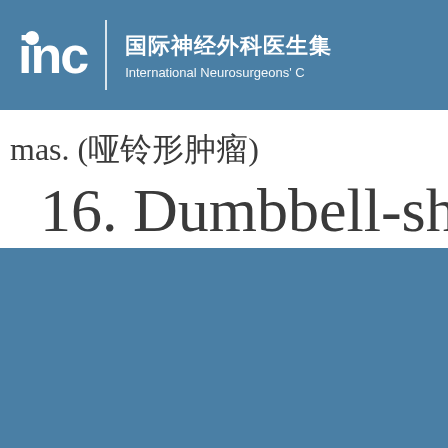INC 国际神经外科医生集 International Neurosurgeons'
mas. (哑铃形肿瘤)
16. Dumbbell-shape
olving the dura mater and
[Figure (infographic): Four white icons on blue background: house/home icon, medical cross with heartbeat icon, phone/call icon, info speech bubble icon. Below each icon are Chinese character labels.]